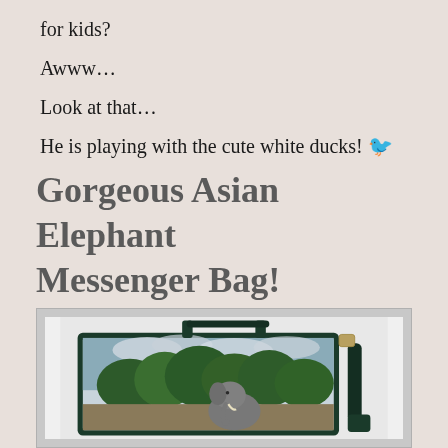for kids?
Awww…
Look at that…
He is playing with the cute white ducks! 🐦
Gorgeous Asian Elephant Messenger Bag!
[Figure (photo): A dark green messenger bag with a photo of an Asian elephant standing among trees under a cloudy sky printed on the front panel. The bag has a shoulder strap.]